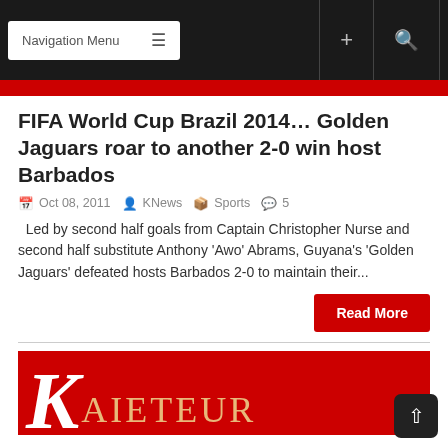Navigation Menu
FIFA World Cup Brazil 2014… Golden Jaguars roar to another 2-0 win host Barbados
Oct 08, 2011  KNews  Sports  5
Led by second half goals from Captain Christopher Nurse and second half substitute Anthony 'Awo' Abrams, Guyana's 'Golden Jaguars' defeated hosts Barbados 2-0 to maintain their...
Read More
[Figure (logo): Kaieteur News logo — large red background with white serif italic K and orange/tan 'AIETEUR' text]